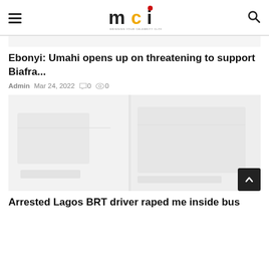mci — BRINGING YOUR CELEBRITY CLOSER TO YOU
Ebonyi: Umahi opens up on threatening to support Biafra...
Admin  Mar 24, 2022  0  0
[Figure (photo): Faded/light news article image showing interior scene]
Arrested Lagos BRT driver raped me inside bus...